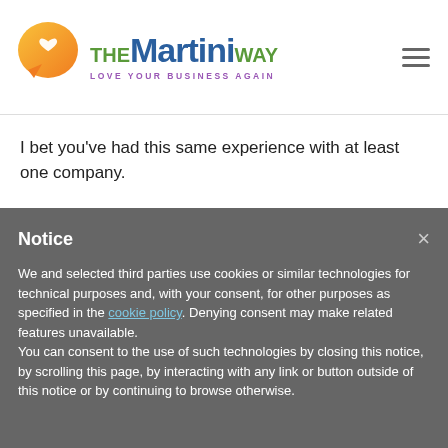[Figure (logo): The Martini Way logo — speech bubble with heart icon, green/blue/purple wordmark, tagline LOVE YOUR BUSINESS AGAIN]
I bet you've had this same experience with at least one company.
Has anyone had this experience with you?
Notice
We and selected third parties use cookies or similar technologies for technical purposes and, with your consent, for other purposes as specified in the cookie policy. Denying consent may make related features unavailable.
You can consent to the use of such technologies by closing this notice, by scrolling this page, by interacting with any link or button outside of this notice or by continuing to browse otherwise.